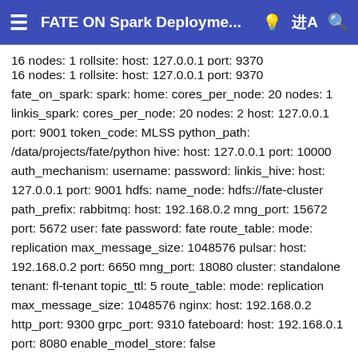FATE ON Spark Deployme...
16 nodes: 1 rollsite: host: 127.0.0.1 port: 9370 fate_on_spark: spark: home: cores_per_node: 20 nodes: 1 linkis_spark: cores_per_node: 20 nodes: 2 host: 127.0.0.1 port: 9001 token_code: MLSS python_path: /data/projects/fate/python hive: host: 127.0.0.1 port: 10000 auth_mechanism: username: password: linkis_hive: host: 127.0.0.1 port: 9001 hdfs: name_node: hdfs://fate-cluster path_prefix: rabbitmq: host: 192.168.0.2 mng_port: 15672 port: 5672 user: fate password: fate route_table: mode: replication max_message_size: 1048576 pulsar: host: 192.168.0.2 port: 6650 mng_port: 18080 cluster: standalone tenant: fl-tenant topic_ttl: 5 route_table: mode: replication max_message_size: 1048576 nginx: host: 192.168.0.2 http_port: 9300 grpc_port: 9310 fateboard: host: 192.168.0.1 port: 8080 enable_model_store: false model_store_address: storage: mysql name: fate_flow...